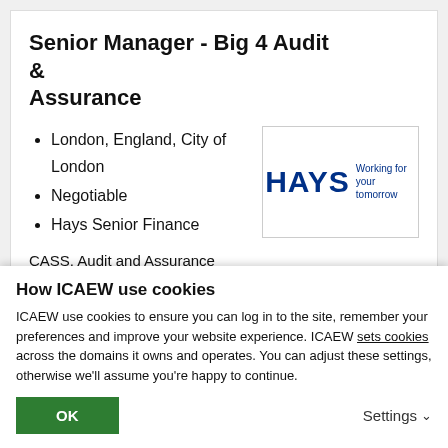Senior Manager - Big 4 Audit & Assurance
London, England, City of London
Negotiable
Hays Senior Finance
[Figure (logo): Hays logo with tagline 'Working for your tomorrow']
CASS, Audit and Assurance team, Senior Manager - London Your new company This Big 4 firm offe…
How ICAEW use cookies
ICAEW use cookies to ensure you can log in to the site, remember your preferences and improve your website experience. ICAEW sets cookies across the domains it owns and operates. You can adjust these settings, otherwise we'll assume you're happy to continue.